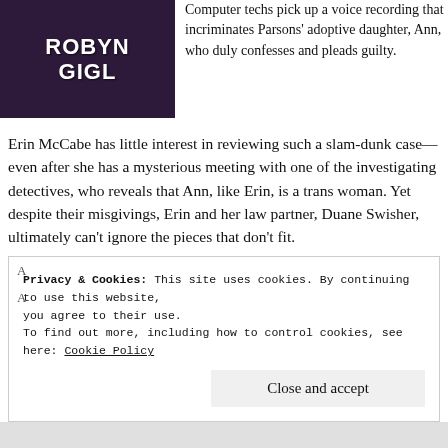[Figure (illustration): Book cover with purple/dark background showing author name ROBYN GIGL in white bold text]
Computer techs pick up a voice recording that incriminates Parsons' adoptive daughter, Ann, who duly confesses and pleads guilty.
Erin McCabe has little interest in reviewing such a slam-dunk case—even after she has a mysterious meeting with one of the investigating detectives, who reveals that Ann, like Erin, is a trans woman. Yet despite their misgivings, Erin and her law partner, Duane Swisher, ultimately can't ignore the pieces that don't fit.
Privacy & Cookies: This site uses cookies. By continuing to use this website, you agree to their use.
To find out more, including how to control cookies, see here: Cookie Policy
Close and accept